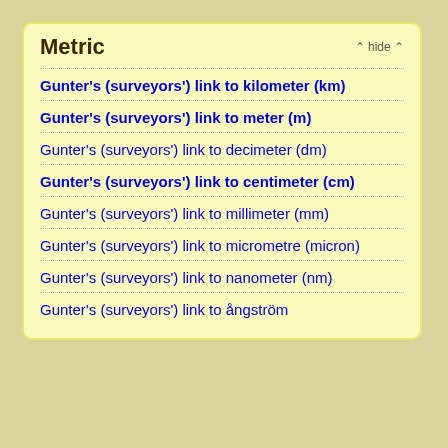Metric
Gunter's (surveyors') link to kilometer (km)
Gunter's (surveyors') link to meter (m)
Gunter's (surveyors') link to decimeter (dm)
Gunter's (surveyors') link to centimeter (cm)
Gunter's (surveyors') link to millimeter (mm)
Gunter's (surveyors') link to micrometre (micron)
Gunter's (surveyors') link to nanometer (nm)
Gunter's (surveyors') link to ångström